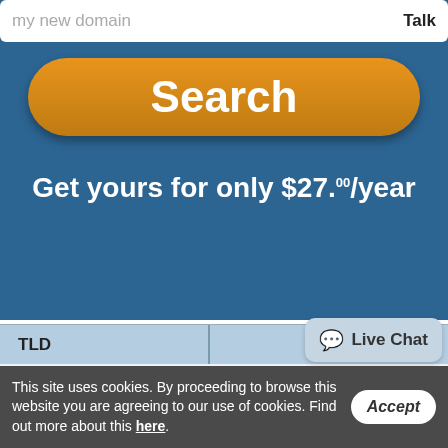[Figure (screenshot): Search input bar partially visible at top with placeholder text 'my new domain' and action label 'Talk']
[Figure (screenshot): Orange rounded Search button on blue background]
Get yours for only $27.00/year
Home / Domains / .DK Domain Registrations From $27.00
.DK Pricing
| TLD |
| --- |
[Figure (screenshot): Live Chat speech bubble button]
This site uses cookies. By proceeding to browse this website you are agreeing to our use of cookies. Find out more about this here.